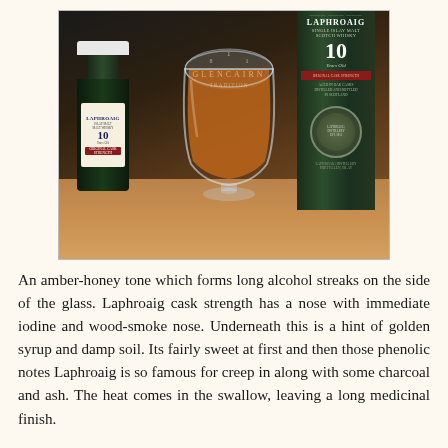[Figure (photo): A Glencairn whisky glass filled with amber-honey colored Laphroaig whisky, flanked by a small Laphroaig miniature bottle on the left and a Laphroaig 10 Years Old cylindrical green tube on the right, all on a wooden surface against a dark background.]
An amber-honey tone which forms long alcohol streaks on the side of the glass. Laphroaig cask strength has a nose with immediate iodine and wood-smoke nose. Underneath this is a hint of golden syrup and damp soil. Its fairly sweet at first and then those phenolic notes Laphroaig is so famous for creep in along with some charcoal and ash. The heat comes in the swallow, leaving a long medicinal finish.